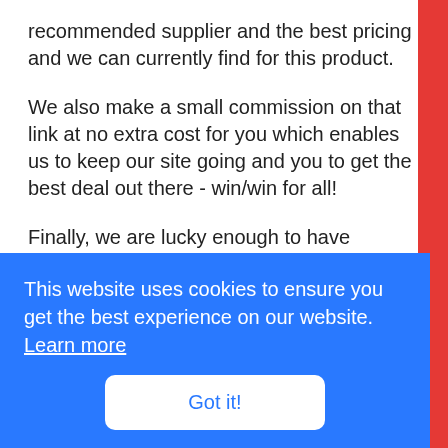recommended supplier and the best pricing and we can currently find for this product.
We also make a small commission on that link at no extra cost for you which enables us to keep our site going and you to get the best deal out there - win/win for all!
Finally, we are lucky enough to have negotiated some incredible coupon codes with our favourite brands and producers - these are some of the biggest discounts on the market. If you'd like to grab these codes, simply join our email list
This website uses cookies to ensure you get the best experience on our website. Learn more
Got it!